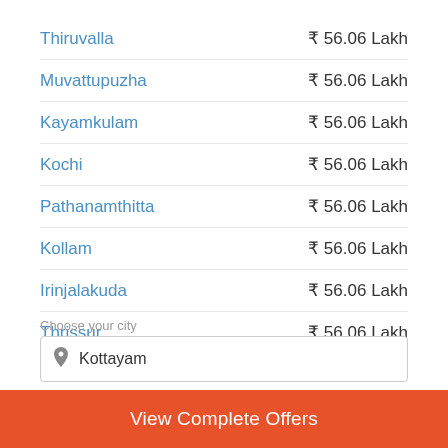Thiruvalla — ₹ 56.06 Lakh
Muvattupuzha — ₹ 56.06 Lakh
Kayamkulam — ₹ 56.06 Lakh
Kochi — ₹ 56.06 Lakh
Pathanamthitta — ₹ 56.06 Lakh
Kollam — ₹ 56.06 Lakh
Irinjalakuda — ₹ 56.06 Lakh
Thrissur — ₹ 56.06 Lakh
Choose your city
Kottayam
View Complete Offers